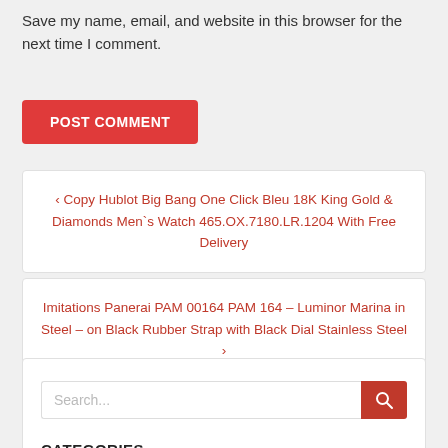Save my name, email, and website in this browser for the next time I comment.
POST COMMENT
‹ Copy Hublot Big Bang One Click Bleu 18K King Gold & Diamonds Men`s Watch 465.OX.7180.LR.1204 With Free Delivery
Imitations Panerai PAM 00164 PAM 164 – Luminor Marina in Steel – on Black Rubber Strap with Black Dial Stainless Steel ›
Search...
CATEGORIES
10 Accurate Richard Mille Replica Watches Under